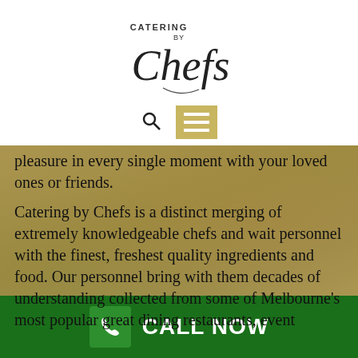[Figure (logo): Catering by Chefs logo with stylized script text]
[Figure (other): Navigation bar with search icon and hamburger menu button on gold background]
pleasure in every single moment with your loved ones or friends.
Catering by Chefs is a distinct merging of extremely knowledgeable chefs and wait personnel with the finest, freshest quality ingredients and food. Our personnel bring with them decades of understanding collected from some of Melbourne's most popular great dining restaurants, event caterers and hundreds unique wedding events, in home events and corporate functions.
CALL NOW